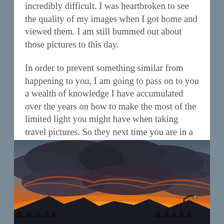incredibly difficult. I was heartbroken to see the quality of my images when I got home and viewed them. I am still bummed out about those pictures to this day.

In order to prevent something similar from happening to you, I am going to pass on to you a wealth of knowledge I have accumulated over the years on how to make the most of the limited light you might have when taking travel pictures. So they next time you are in a dimly lit building or venturing out on an overcast day, you will be prepared.
[Figure (photo): A dramatic sunset landscape photograph showing dark mountain silhouettes against a vivid sky with orange, red, and yellow hues near the horizon, with dramatic dark clouds above. A street lamp is visible on the right side.]